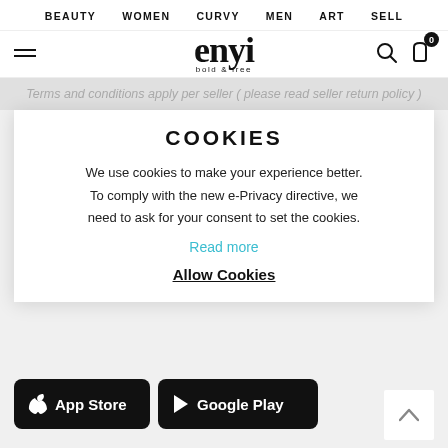BEAUTY  WOMEN  CURVY  MEN  ART  SELL
[Figure (logo): enyi bold & free logo with hamburger menu, search icon, and cart icon showing 0 items]
Terms and conditions apply per seller ( please read seller return policy )
COOKIES
We use cookies to make your experience better. To comply with the new e-Privacy directive, we need to ask for your consent to set the cookies.
Read more
Allow Cookies
[Figure (logo): App Store and Google Play download badges at bottom of page]